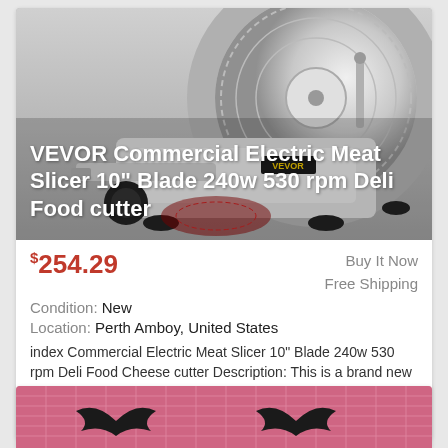[Figure (photo): VEVOR Commercial Electric Meat Slicer product photo showing a silver/white electric meat slicer with circular blade, on a grey background, with product title text overlaid in white]
VEVOR Commercial Electric Meat Slicer 10" Blade 240w 530 rpm Deli Food cutter
$254.29
Buy It Now
Free Shipping
Condition: New
Location: Perth Amboy, United States
index Commercial Electric Meat Slicer 10" Blade 240w 530 rpm Deli Food Cheese cutter Description: This is a brand new 10" blade high-efficiency ...
more
[Figure (photo): Partial view of another product listing showing dark bat-shaped cookie cutters on a pink/red grid cutting mat]